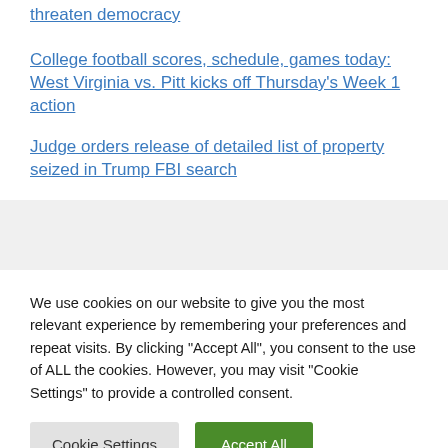threaten democracy
College football scores, schedule, games today: West Virginia vs. Pitt kicks off Thursday's Week 1 action
Judge orders release of detailed list of property seized in Trump FBI search
We use cookies on our website to give you the most relevant experience by remembering your preferences and repeat visits. By clicking "Accept All", you consent to the use of ALL the cookies. However, you may visit "Cookie Settings" to provide a controlled consent.